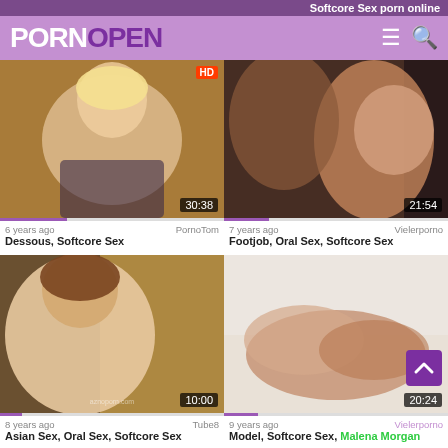Softcore Sex porn online
PORNOPEN
[Figure (screenshot): Video thumbnail 1: blonde woman, duration 30:38, HD badge]
6 years ago
PornoTom
Dessous, Softcore Sex
[Figure (screenshot): Video thumbnail 2: oral sex scene, duration 21:54]
7 years ago
Vielerporno
Footjob, Oral Sex, Softcore Sex
[Figure (screenshot): Video thumbnail 3: Asian woman, duration 10:00]
8 years ago
Tube8
Asian Sex, Oral Sex, Softcore Sex
[Figure (screenshot): Video thumbnail 4: couple on bed, duration 20:24]
9 years ago
Vielerporno
Model, Softcore Sex, Malena Morgan